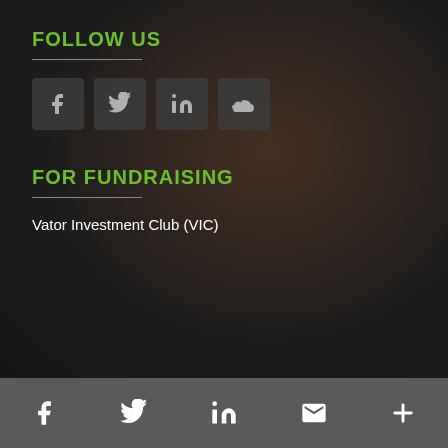FOLLOW US
[Figure (other): Social media icon buttons: Facebook, Twitter, LinkedIn, SoundCloud]
FOR FUNDRAISING
Vator Investment Club (VIC)
Footer bar with social icons: Facebook, Twitter, LinkedIn, Gmail, More